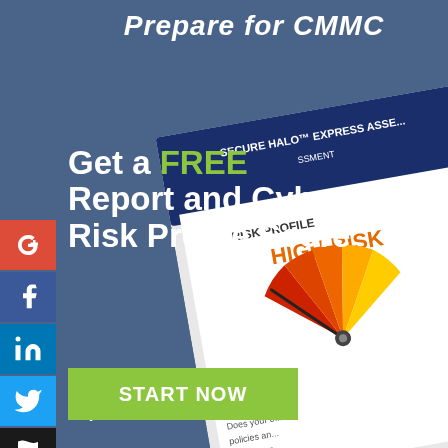Prepare for CMMC
Get a FREE Report and Cyber Risk Profile Score
Try Our Secure Halo Express Assessment
[Figure (infographic): Angled report document showing 'Secure Halo Express Assessment' with a Risk Profile gauge showing HIGH RISK in orange/red, and partial text 'Does your o... policies an... The absen... reactive t...']
START NOW